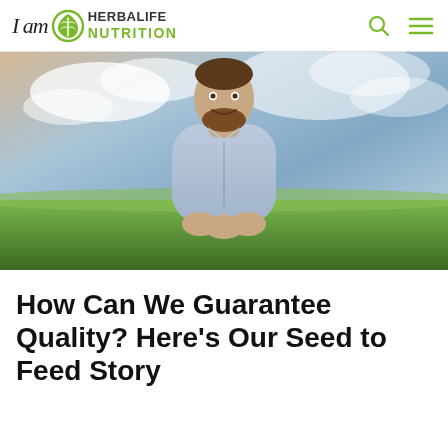I am Herbalife Nutrition
[Figure (photo): A smiling man with a beard wearing a light blue patterned button-up shirt, standing in a green field with a dramatic sky behind him.]
How Can We Guarantee Quality? Here’s Our Seed to Feed Story